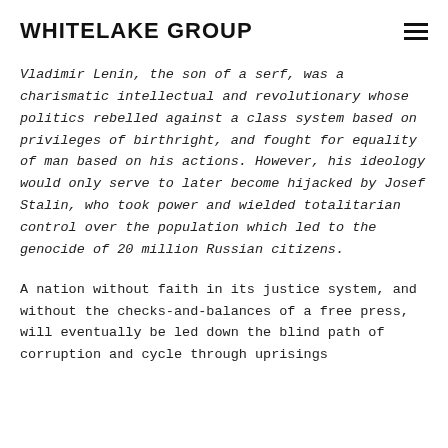WHITELAKE GROUP
Vladimir Lenin, the son of a serf, was a charismatic intellectual and revolutionary whose politics rebelled against a class system based on privileges of birthright, and fought for equality of man based on his actions. However, his ideology would only serve to later become hijacked by Josef Stalin, who took power and wielded totalitarian control over the population which led to the genocide of 20 million Russian citizens.
A nation without faith in its justice system, and without the checks-and-balances of a free press, will eventually be led down the blind path of corruption and cycle through uprisings